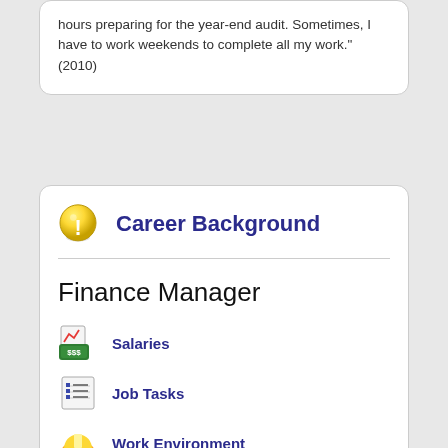hours preparing for the year-end audit. Sometimes, I have to work weekends to complete all my work." (2010)
[Figure (illustration): Yellow warning/exclamation mark circle icon next to 'Career Background' heading]
Career Background
Finance Manager
Salaries
Job Tasks
Work Environment
How to Prepare for the Job
Job Outlook